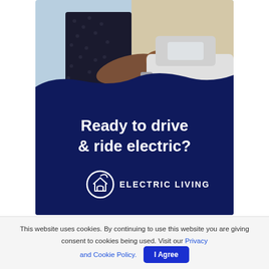[Figure (illustration): Advertisement banner showing a person plugging in an electric vehicle charging cable, with a dark navy blue overlay containing promotional text and the Electric Living logo.]
Ready to drive & ride electric?
ELECTRIC LIVING
This website uses cookies. By continuing to use this website you are giving consent to cookies being used. Visit our Privacy and Cookie Policy.